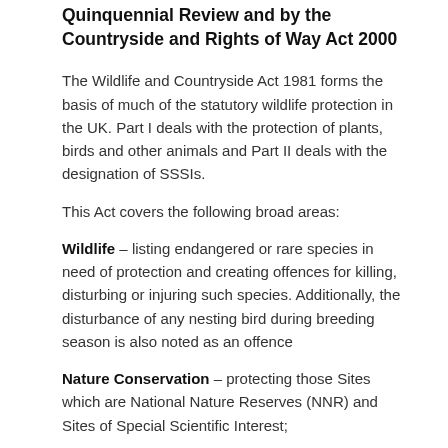Quinquennial Review and by the Countryside and Rights of Way Act 2000
The Wildlife and Countryside Act 1981 forms the basis of much of the statutory wildlife protection in the UK. Part I deals with the protection of plants, birds and other animals and Part II deals with the designation of SSSIs.
This Act covers the following broad areas:
Wildlife – listing endangered or rare species in need of protection and creating offences for killing, disturbing or injuring such species. Additionally, the disturbance of any nesting bird during breeding season is also noted as an offence
Nature Conservation – protecting those Sites which are National Nature Reserves (NNR) and Sites of Special Scientific Interest;